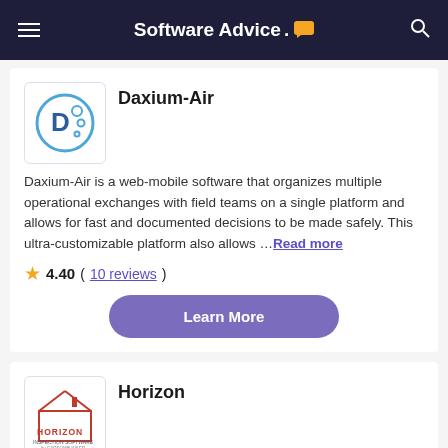Software Advice.
Daxium-Air
Daxium-Air is a web-mobile software that organizes multiple operational exchanges with field teams on a single platform and allows for fast and documented decisions to be made safely. This ultra-customizable platform also allows ... Read more
4.40 (10 reviews)
Learn More
Horizon
Horizon is best-in-class home inspection software designed to help streamline operations and grow your business. It offers a